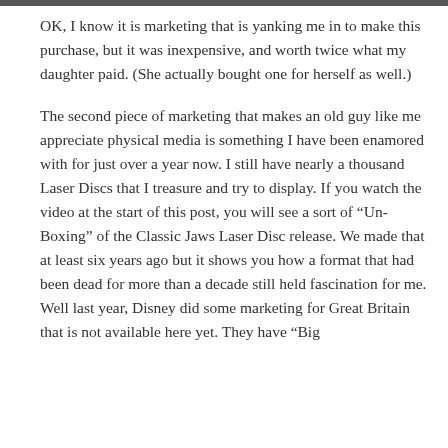[Figure (photo): Partial image strip at top of page (cropped photo)]
OK, I know it is marketing that is yanking me in to make this purchase, but it was inexpensive, and worth twice what my daughter paid. (She actually bought one for herself as well.)
The second piece of marketing that makes an old guy like me appreciate physical media is something I have been enamored with for just over a year now. I still have nearly a thousand Laser Discs that I treasure and try to display. If you watch the video at the start of this post, you will see a sort of “Un-Boxing” of the Classic Jaws Laser Disc release. We made that at least six years ago but it shows you how a format that had been dead for more than a decade still held fascination for me. Well last year, Disney did some marketing for Great Britain that is not available here yet. They have “Big